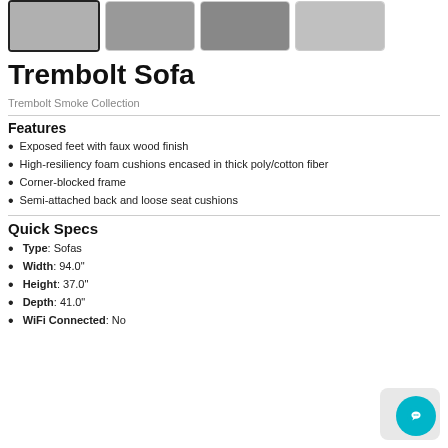[Figure (photo): Four product thumbnail images of a sofa, the first selected with a black border]
Trembolt Sofa
Trembolt Smoke Collection
Features
Exposed feet with faux wood finish
High-resiliency foam cushions encased in thick poly/cotton fiber
Corner-blocked frame
Semi-attached back and loose seat cushions
Quick Specs
Type: Sofas
Width: 94.0"
Height: 37.0"
Depth: 41.0"
WiFi Connected: No